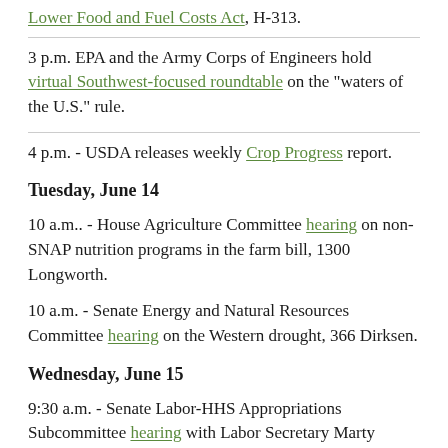Lower Food and Fuel Costs Act, H-313.
3 p.m. EPA and the Army Corps of Engineers hold virtual Southwest-focused roundtable on the "waters of the U.S." rule.
4 p.m. - USDA releases weekly Crop Progress report.
Tuesday, June 14
10 a.m.. - House Agriculture Committee hearing on non-SNAP nutrition programs in the farm bill, 1300 Longworth.
10 a.m. - Senate Energy and Natural Resources Committee hearing on the Western drought, 366 Dirksen.
Wednesday, June 15
9:30 a.m. - Senate Labor-HHS Appropriations Subcommittee hearing with Labor Secretary Marty Walsh, 138 Dirksen.